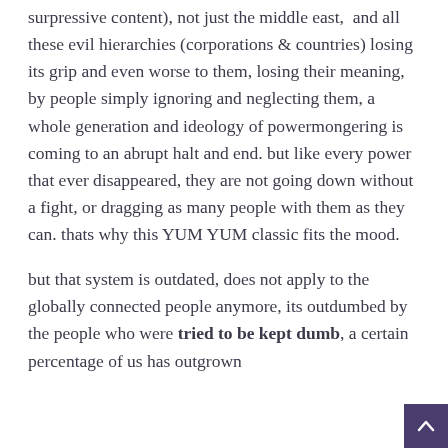surpressive content), not just the middle east, and all these evil hierarchies (corporations & countries) losing its grip and even worse to them, losing their meaning, by people simply ignoring and neglecting them, a whole generation and ideology of powermongering is coming to an abrupt halt and end. but like every power that ever disappeared, they are not going down without a fight, or dragging as many people with them as they can. thats why this YUM YUM classic fits the mood.
but that system is outdated, does not apply to the globally connected people anymore, its outdumbed by the people who were tried to be kept dumb, a certain percentage of us has outgrown